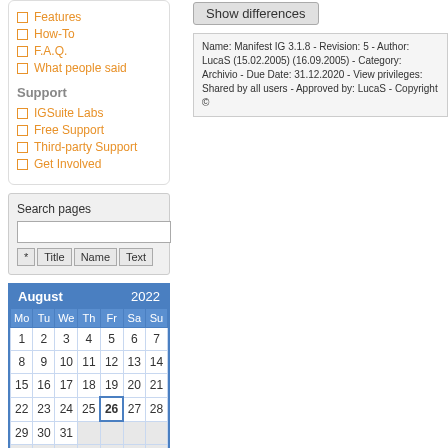Features
How-To
F.A.Q.
What people said
Support
IGSuite Labs
Free Support
Third-party Support
Get Involved
Search pages
Show differences
Name: Manifest IG 3.1.8 - Revision: 5 - Author: LucaS (15.02.2005) (16.09.2005) - Category: Archivio - Due Date: 31.12.2020 - View privileges: Shared by all users - Approved by: LucaS - Copyright ©
| Mo | Tu | We | Th | Fr | Sa | Su |
| --- | --- | --- | --- | --- | --- | --- |
| 1 | 2 | 3 | 4 | 5 | 6 | 7 |
| 8 | 9 | 10 | 11 | 12 | 13 | 14 |
| 15 | 16 | 17 | 18 | 19 | 20 | 21 |
| 22 | 23 | 24 | 25 | 26 | 27 | 28 |
| 29 | 30 | 31 |  |  |  |  |
|  |  |  |  |  |  |  |